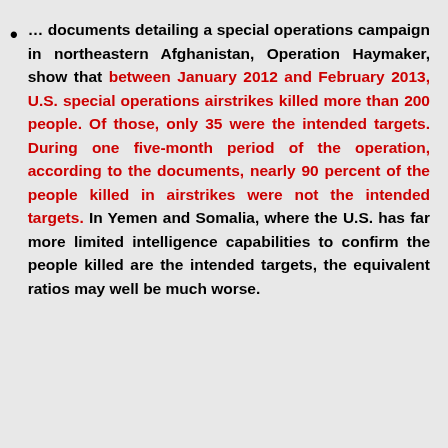… documents detailing a special operations campaign in northeastern Afghanistan, Operation Haymaker, show that between January 2012 and February 2013, U.S. special operations airstrikes killed more than 200 people. Of those, only 35 were the intended targets. During one five-month period of the operation, according to the documents, nearly 90 percent of the people killed in airstrikes were not the intended targets. In Yemen and Somalia, where the U.S. has far more limited intelligence capabilities to confirm the people killed are the intended targets, the equivalent ratios may well be much worse.